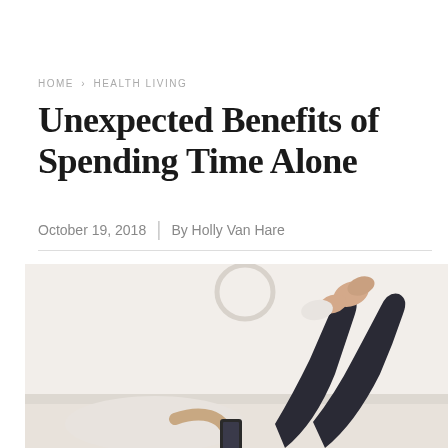HOME / HEALTH LIVING
Unexpected Benefits of Spending Time Alone
October 19, 2018  |  By Holly Van Hare
[Figure (photo): Photo of a person lying on a sofa with legs up in the air, holding a smartphone, wearing dark jeans, with a round wall clock visible in the background. Light, airy room setting.]